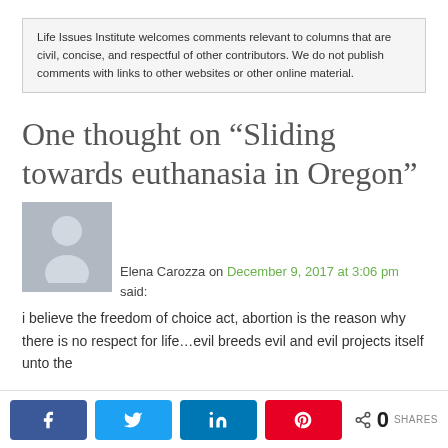Life Issues Institute welcomes comments relevant to columns that are civil, concise, and respectful of other contributors. We do not publish comments with links to other websites or other online material.
One thought on “Sliding towards euthanasia in Oregon”
[Figure (photo): Generic grey avatar placeholder image of a person silhouette]
Elena Carozza on December 9, 2017 at 3:06 pm said:
i believe the freedom of choice act, abortion is the reason why there is no respect for life…evil breeds evil and evil projects itself unto the
0 SHARES